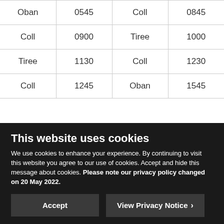| Oban | 0545 | Coll | 0845 |
| Coll | 0900 | Tiree | 1000 |
| Tiree | 1130 | Coll | 1230 |
| Coll | 1245 | Oban | 1545 |
This website uses cookies
We use cookies to enhance your experience. By continuing to visit this website you agree to our use of cookies. Accept and hide this message about cookies. Please note our privacy policy changed on 20 May 2022.
Accept
View Privacy Notice ›